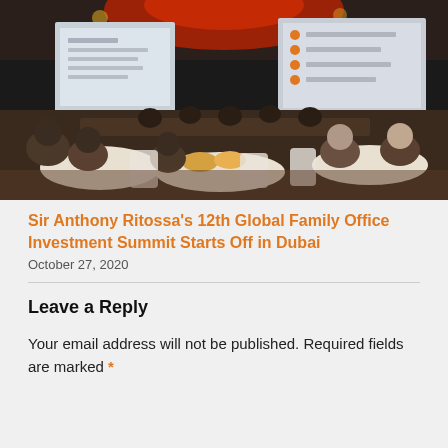[Figure (photo): Conference hall with attendees seated at round tables, two projection screens visible at the front showing presentations, with red accent lighting and chandeliers overhead.]
Sir Anthony Ritossa's 12th Global Family Office Investment Summit Starts Off in Dubai
October 27, 2020
Leave a Reply
Your email address will not be published. Required fields are marked *